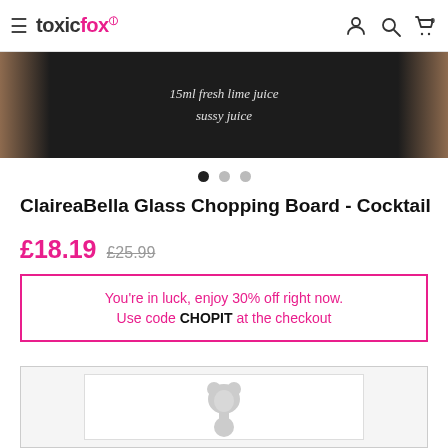toxicfox® — hamburger menu, user icon, search icon, cart (0)
[Figure (photo): Cropped chalkboard image with handwritten cocktail recipe text in white: '15ml... fresh lime juice... sussy juice']
[Figure (other): Carousel navigation dots: three dots, first dot filled/active, second and third lighter]
ClaireaBella Glass Chopping Board - Cocktail
£18.19  £25.99 (strikethrough)
You're in luck, enjoy 30% off right now. Use code CHOPIT at the checkout
[Figure (illustration): Product thumbnail showing ClaireaBella character silhouette (grey girl with large hair/bow) inside a rounded rectangle card, within a grey bordered box]